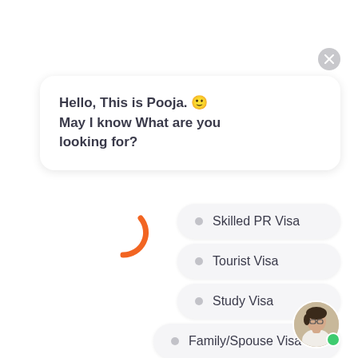[Figure (screenshot): Chat interface close button (X) in top right corner]
Hello, This is Pooja. 🙂 May I know What are you looking for?
[Figure (other): Orange loading/spinner arc icon]
Skilled PR Visa
Tourist Visa
Study Visa
Family/Spouse Visa
[Figure (photo): Circular avatar photo of a person (Pooja) with green online indicator dot]